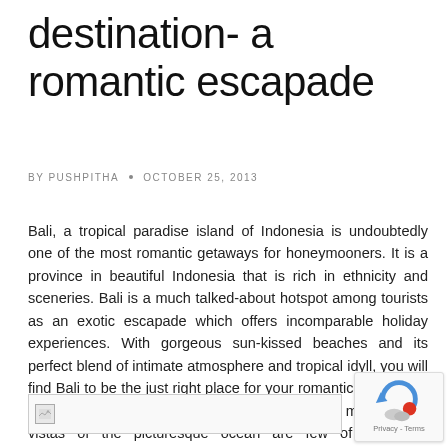destination- a romantic escapade
BY PUSHPITHA • OCTOBER 25, 2013
Bali, a tropical paradise island of Indonesia is undoubtedly one of the most romantic getaways for honeymooners. It is a province in beautiful Indonesia that is rich in ethnicity and sceneries. Bali is a much talked-about hotspot among tourists as an exotic escapade which offers incomparable holiday experiences. With gorgeous sun-kissed beaches and its perfect blend of intimate atmosphere and tropical idyll, you will find Bali to be the just right place for your romantic getaway. A pristine beach with gorgeous seashore and mesmerizing vistas of the picturesque ocean are few of the main ingredients of a perfect honeymoon. Well, Bali offers it all. This enchanting isle with its interesting culture will make your special vacation even more memorable.
[Figure (other): Broken image placeholder at bottom of page]
[Figure (other): reCAPTCHA badge with robot icon and Privacy/Terms links]